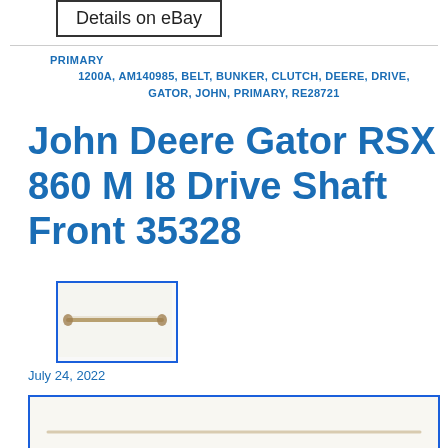[Figure (screenshot): eBay 'Details on eBay' button with black border]
PRIMARY
1200A, AM140985, BELT, BUNKER, CLUTCH, DEERE, DRIVE, GATOR, JOHN, PRIMARY, RE28721
John Deere Gator RSX 860 M I8 Drive Shaft Front 35328
[Figure (photo): Small thumbnail image of a drive shaft, shown horizontally against white background, with blue border]
July 24, 2022
[Figure (photo): Larger image of a drive shaft shown horizontally against white background, with blue border. The shaft has joints at both ends.]